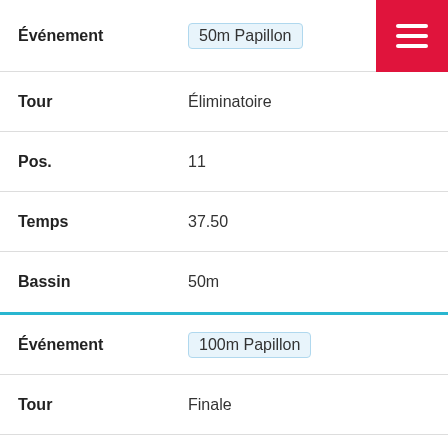| Champ | Valeur |
| --- | --- |
| Événement | 50m Papillon |
| Tour | Éliminatoire |
| Pos. | 11 |
| Temps | 37.50 |
| Bassin | 50m |
| Champ | Valeur |
| --- | --- |
| Événement | 100m Papillon |
| Tour | Finale |
| Pos. | 3 🥉 |
| Temps | 1:30.36 |